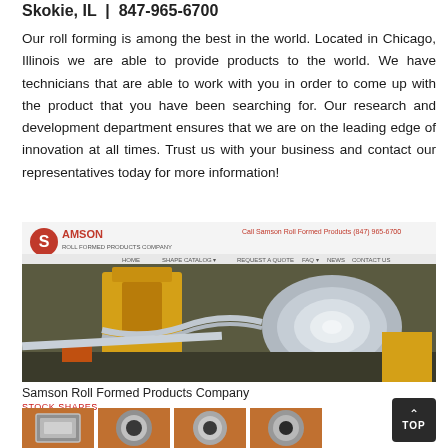Skokie, IL  |  847-965-6700
Our roll forming is among the best in the world. Located in Chicago, Illinois we are able to provide products to the world. We have technicians that are able to work with you in order to come up with the product that you have been searching for. Our research and development department ensures that we are on the leading edge of innovation at all times. Trust us with your business and contact our representatives today for more information!
[Figure (screenshot): Screenshot of the Samson Roll Formed Products Company website showing the company logo with navigation bar (HOME, SHAPE CATALOG, REQUEST A QUOTE, FAQ, NEWS, CONTACT US) and a hero image of metal coil/roll being processed in an industrial facility. Red header text reads 'Call Samson Roll Formed Products (847) 965-6700'.]
Samson Roll Formed Products Company
STOCK SHAPES
[Figure (photo): Grid of four product thumbnails showing metal formed shapes: a square/rectangular hollow section, two round tubes/pipes, and another round pipe, all on orange/brown background.]